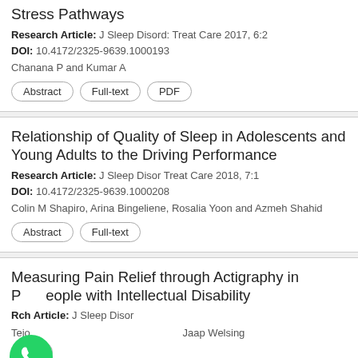Stress Pathways
Research Article: J Sleep Disord: Treat Care 2017, 6:2
DOI: 10.4172/2325-9639.1000193
Chanana P and Kumar A
Abstract | Full-text | PDF
Relationship of Quality of Sleep in Adolescents and Young Adults to the Driving Performance
Research Article: J Sleep Disor Treat Care 2018, 7:1
DOI: 10.4172/2325-9639.1000208
Colin M Shapiro, Arina Bingeliene, Rosalia Yoon and Azmeh Shahid
Abstract | Full-text
Measuring Pain Relief through Actigraphy in People with Intellectual Disability
Research Article: J Sleep Disor
Tejo ... Jaap Welsing
[Figure (screenshot): WhatsApp icon (green circle with white phone) overlaid on the bottom-left of the page, with a 'Leave a message +' dark bar notification overlay]